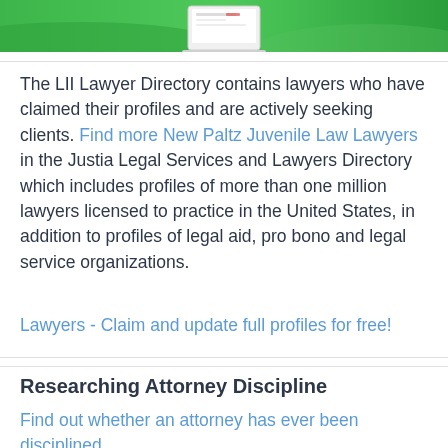[Figure (illustration): Green banner header with wave design and a laptop/screen graphic in the center]
The LII Lawyer Directory contains lawyers who have claimed their profiles and are actively seeking clients. Find more New Paltz Juvenile Law Lawyers in the Justia Legal Services and Lawyers Directory which includes profiles of more than one million lawyers licensed to practice in the United States, in addition to profiles of legal aid, pro bono and legal service organizations.
Lawyers - Claim and update full profiles for free!
Researching Attorney Discipline
Find out whether an attorney has ever been disciplined.